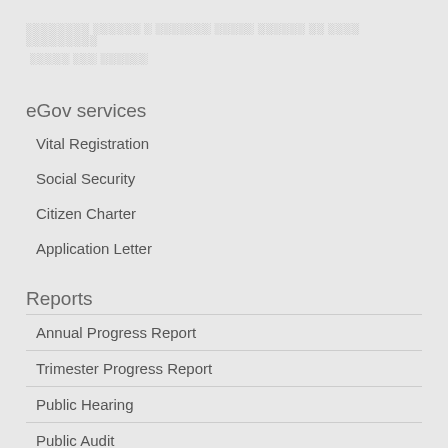░░░░░░░░ ░░░░░░ ░ ░░░░░░░ ░░░░░ ░░░░░░ ░░ ░░░░ ░░░░░░░░░
░░░░░ ░░░ ░░░░░░
eGov services
Vital Registration
Social Security
Citizen Charter
Application Letter
Reports
Annual Progress Report
Trimester Progress Report
Public Hearing
Public Audit